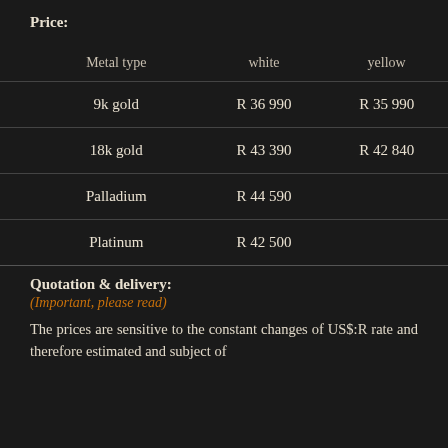Price:
| Metal type | white | yellow |
| --- | --- | --- |
| 9k gold | R 36 990 | R 35 990 |
| 18k gold | R 43 390 | R 42 840 |
| Palladium | R 44 590 |  |
| Platinum | R 42 500 |  |
Quotation & delivery:
(Important, please read)
The prices are sensitive to the constant changes of US$:R rate and therefore estimated and subject of